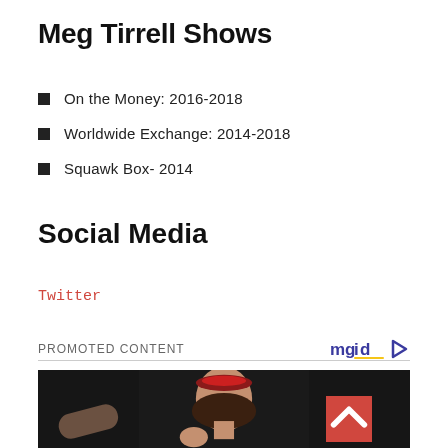Meg Tirrell Shows
On the Money: 2016-2018
Worldwide Exchange: 2014-2018
Squawk Box- 2014
Social Media
Twitter
PROMOTED CONTENT
[Figure (photo): Young girl with red headband in a fighting pose, dark background]